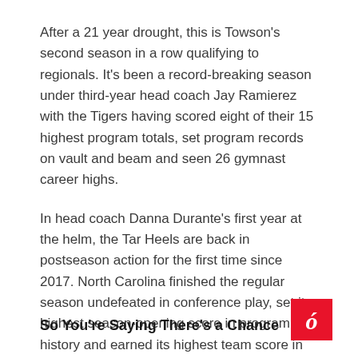After a 21 year drought, this is Towson's second season in a row qualifying to regionals. It's been a record-breaking season under third-year head coach Jay Ramierez with the Tigers having scored eight of their 15 highest program totals, set program records on vault and beam and seen 26 gymnast career highs.
In head coach Danna Durante's first year at the helm, the Tar Heels are back in postseason action for the first time since 2017. North Carolina finished the regular season undefeated in conference play, set its highest season-opening score in program history and earned its highest team score in 18 years.
So You're Saying There's a Chance
[Figure (logo): Red square logo with a stylized white italic letter d with an accent mark]